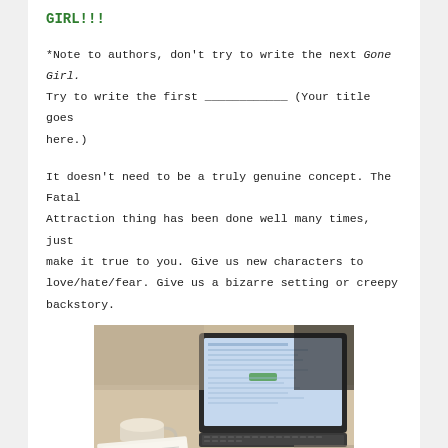GIRL!!!
*Note to authors, don't try to write the next Gone Girl. Try to write the first ____________ (Your title goes here.)
It doesn't need to be a truly genuine concept. The Fatal Attraction thing has been done well many times, just make it true to you. Give us new characters to love/hate/fear. Give us a bizarre setting or creepy backstory.
[Figure (photo): A desk scene with a laptop showing a blue-screen document, a coffee cup, and papers with handwritten notes.]